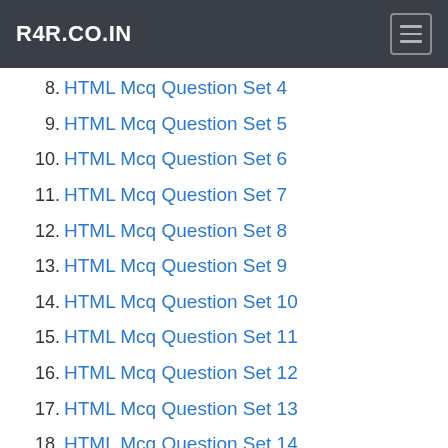R4R.CO.IN
8. HTML Mcq Question Set 4
9. HTML Mcq Question Set 5
10. HTML Mcq Question Set 6
11. HTML Mcq Question Set 7
12. HTML Mcq Question Set 8
13. HTML Mcq Question Set 9
14. HTML Mcq Question Set 10
15. HTML Mcq Question Set 11
16. HTML Mcq Question Set 12
17. HTML Mcq Question Set 13
18. HTML Mcq Question Set 14
19. HTML Mcq Question Set 15
20. HTML Mcq Question Set 16
21. HTML Mcq Question Set 17
22. HTML Mcq Question Set 18
23. HTML Mcq
24. HTML : MCQ SET 1